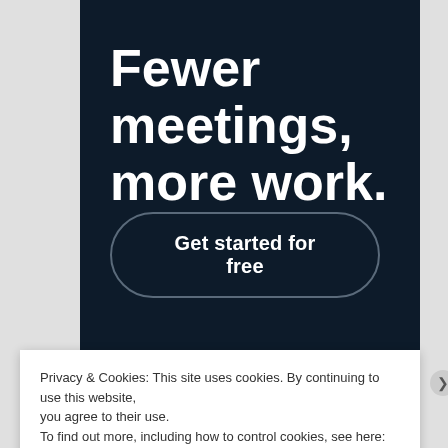Fewer meetings, more work.
Get started for free
Privacy & Cookies: This site uses cookies. By continuing to use this website, you agree to their use.
To find out more, including how to control cookies, see here: Cookie Policy
Close and accept